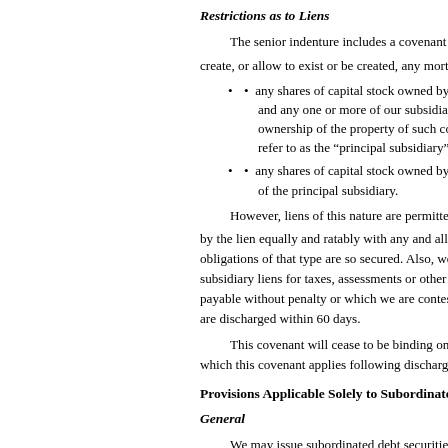Restrictions as to Liens
The senior indenture includes a covenant providing that we will not create, or allow to exist or be created, any mortgage, pledge, e…
any shares of capital stock owned by us of American E… and any one or more of our subsidiaries that succeeds to ownership of the property of such company, so long as… refer to as the “principal subsidiary”; or
any shares of capital stock owned by us of a subsidiary… of the principal subsidiary.
However, liens of this nature are permitted if we provide… by the lien equally and ratably with any and all other obligatio… obligations of that type are so secured. Also, we may incur or… subsidiary liens for taxes, assessments or other governmental c… payable without penalty or which we are contesting in good fa… are discharged within 60 days.
This covenant will cease to be binding on us with respect… which this covenant applies following discharge of those senio…
Provisions Applicable Solely to Subordinated Securities
General
We may issue subordinated debt securities in one or more… Holders of subordinated debt securities should recognize that o… debt indenture may prohibit us from making payments on thes… will rank on an equal basis with certain of our other subordina…